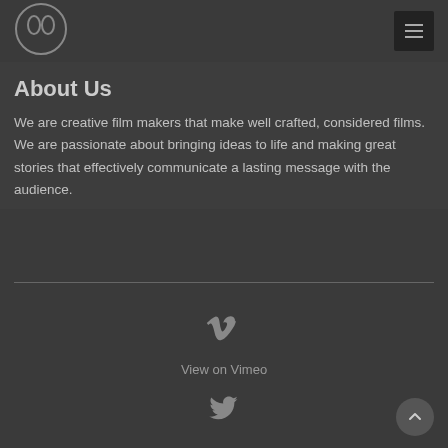[Figure (logo): Circular logo with two overlapping figure-eight or infinity-like symbols inside a circle, grey outline on dark background]
[Figure (other): Dark square menu button with hamburger icon (three horizontal lines)]
About Us
We are creative film makers that make well crafted, considered films. We are passionate about bringing ideas to life and making great stories that effectively communicate a lasting message with the audience.
[Figure (other): Vimeo logo icon (stylized V) in grey]
View on Vimeo
[Figure (other): Twitter bird logo icon in grey]
[Figure (other): Scroll-to-top button, circular dark grey with upward chevron arrow]